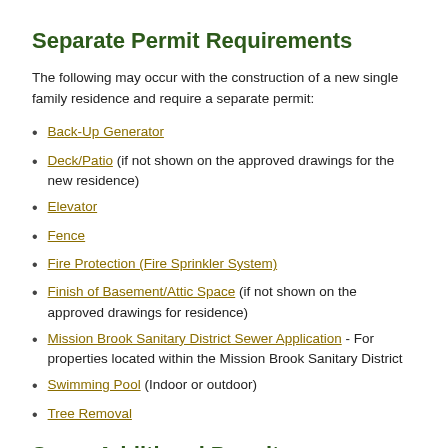Separate Permit Requirements
The following may occur with the construction of a new single family residence and require a separate permit:
Back-Up Generator
Deck/Patio (if not shown on the approved drawings for the new residence)
Elevator
Fence
Fire Protection (Fire Sprinkler System)
Finish of Basement/Attic Space (if not shown on the approved drawings for residence)
Mission Brook Sanitary District Sewer Application - For properties located within the Mission Brook Sanitary District
Swimming Pool (Indoor or outdoor)
Tree Removal
Some Additional Permit Requirements